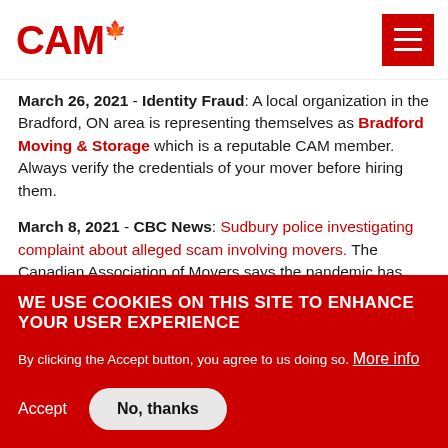CAM logo and navigation menu
mover before hiring them.
March 26, 2021 - Identity Fraud: A local organization in the Bradford, ON area is representing themselves as Bradford Moving & Storage which is a reputable CAM member. Always verify the credentials of your mover before hiring them.
March 8, 2021 - CBC News: Sudbury police investigating complaint about alleged scam involving movers. The Canadian Association of Movers says the pandemic has created an opening for disreputable moving companies to
WE USE COOKIES ON THIS SITE TO ENHANCE YOUR USER EXPERIENCE
By clicking the Accept button, you agree to us doing so. More info
Accept
No, thanks